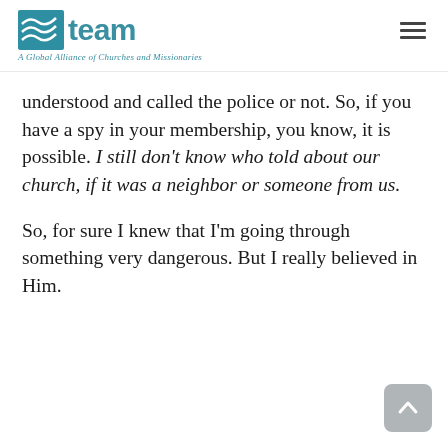TEAM — A Global Alliance of Churches and Missionaries
understood and called the police or not. So, if you have a spy in your membership, you know, it is possible. I still don't know who told about our church, if it was a neighbor or someone from us.
So, for sure I knew that I'm going through something very dangerous. But I really believed in Him.